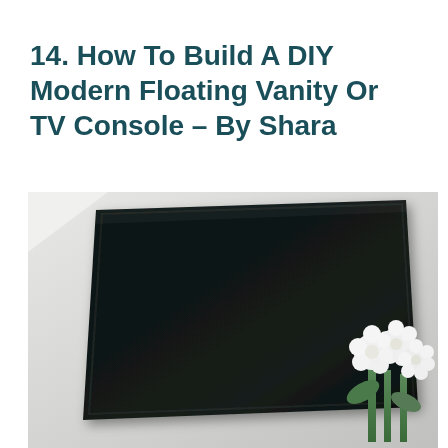14. How To Build A DIY Modern Floating Vanity Or TV Console – By Shara
[Figure (photo): Photo of a dark black TV mounted on a light grey/white wall, shown at a slight angle. In the bottom right corner there is a vase of white flowers with green leaves.]